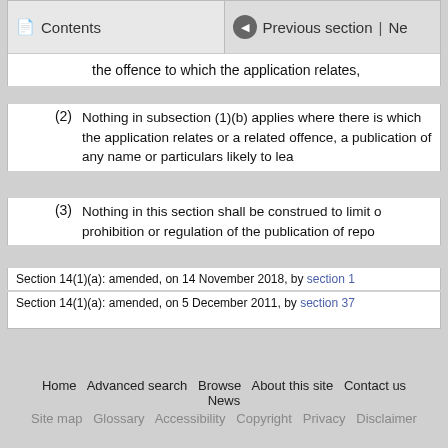Contents | Previous section | Ne
the offence to which the application relates,
(2) Nothing in subsection (1)(b) applies where there is which the application relates or a related offence, a publication of any name or particulars likely to lea
(3) Nothing in this section shall be construed to limit o prohibition or regulation of the publication of repo
Section 14(1)(a): amended, on 14 November 2018, by section 1
Section 14(1)(a): amended, on 5 December 2011, by section 37
Home   Advanced search   Browse   About this site   Contact us   News
Site map   Glossary   Accessibility   Copyright   Privacy   Disclaimer